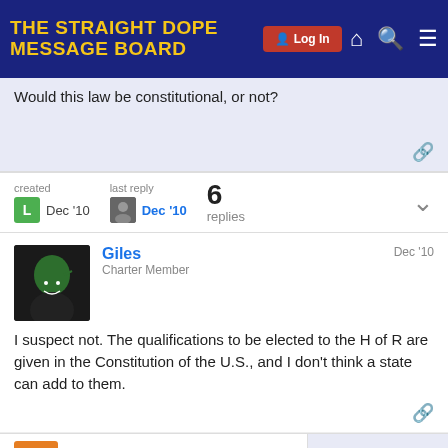THE STRAIGHT DOPE MESSAGE BOARD
Would this law be constitutional, or not?
created Dec '10  last reply Dec '10  6 replies
Giles  Charter Member  Dec '10
I suspect not. The qualifications to be elected to the H of R are given in the Constitution of the U.S., and I don't think a state can add to them.
Tierce  Charter Member  1 / 7